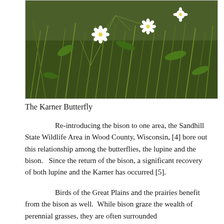[Figure (photo): Close-up photograph of small white wildflowers with yellow centers growing among green grasses and foliage, likely lupine-related habitat]
The Karner Butterfly
Re-introducing the bison to one area, the Sandhill State Wildlife Area in Wood County, Wisconsin, [4] bore out this relationship among the butterflies, the lupine and the bison.   Since the return of the bison, a significant recovery of both lupine and the Karner has occurred [5].
Birds of the Great Plains and the prairies benefit from the bison as well.  While bison graze the wealth of perennial grasses, they are often surrounded